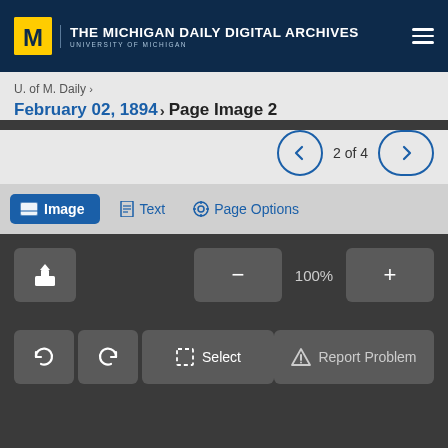THE MICHIGAN DAILY DIGITAL ARCHIVES — UNIVERSITY OF MICHIGAN
U. of M. Daily
February 02, 1894 › Page Image 2
2 of 4
Image   Text   Page Options
100%
Select
Report Problem